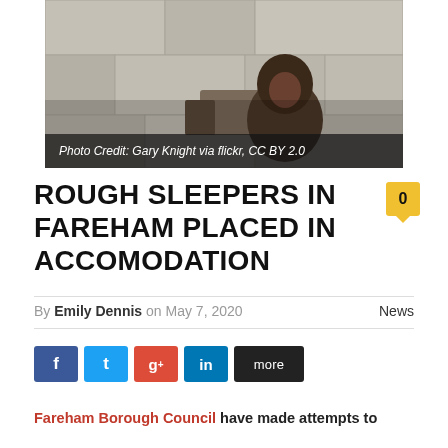[Figure (photo): A homeless person sitting against a stone wall, wrapped in a hooded jacket with bundled belongings beside them. Photo credit bar reads: Photo Credit: Gary Knight via flickr, CC BY 2.0]
ROUGH SLEEPERS IN FAREHAM PLACED IN ACCOMODATION
By Emily Dennis on May 7, 2020  News
f  t  g+  in  more
Fareham Borough Council have made attempts to